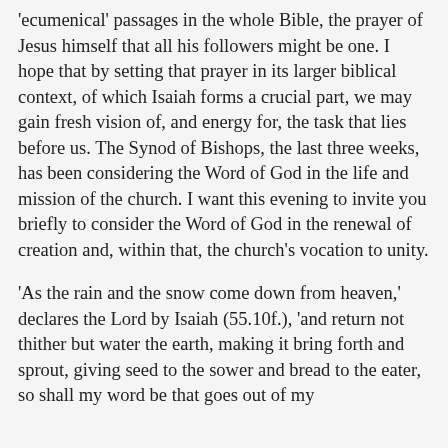'ecumenical' passages in the whole Bible, the prayer of Jesus himself that all his followers might be one. I hope that by setting that prayer in its larger biblical context, of which Isaiah forms a crucial part, we may gain fresh vision of, and energy for, the task that lies before us. The Synod of Bishops, the last three weeks, has been considering the Word of God in the life and mission of the church. I want this evening to invite you briefly to consider the Word of God in the renewal of creation and, within that, the church's vocation to unity.
'As the rain and the snow come down from heaven,' declares the Lord by Isaiah (55.10f.), 'and return not thither but water the earth, making it bring forth and sprout, giving seed to the sower and bread to the eater, so shall my word be that goes out of my